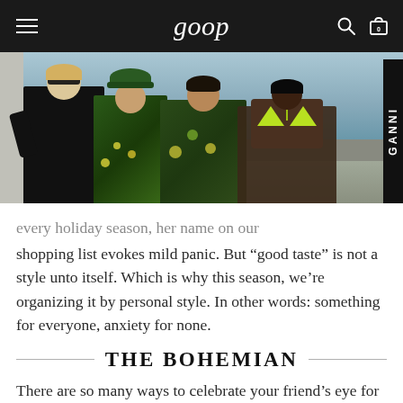goop
[Figure (photo): Four women posing together outdoors. From left to right: a blonde woman in all black with sunglasses, a woman wearing a tropical-print bucket hat and matching outfit, a woman in a tropical-print top, and a woman in a neon green triangle bikini top. GANNI branding visible on right side.]
every holiday season, her name on our shopping list evokes mild panic. But “good taste” is not a style unto itself. Which is why this season, we’re organizing it by personal style. In other words: something for everyone, anxiety for none.
THE BOHEMIAN
There are so many ways to celebrate your friend’s eye for the free-flowing, the eclectic,